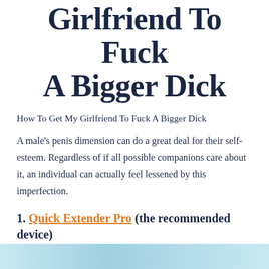Girlfriend To Fuck A Bigger Dick
How To Get My Girlfriend To Fuck A Bigger Dick
A male's penis dimension can do a great deal for their self-esteem. Regardless of if all possible companions care about it, an individual can actually feel lessened by this imperfection.
1. Quick Extender Pro (the recommended device)
[Figure (photo): Bottom strip showing a product or device image, partially visible at the bottom of the page]